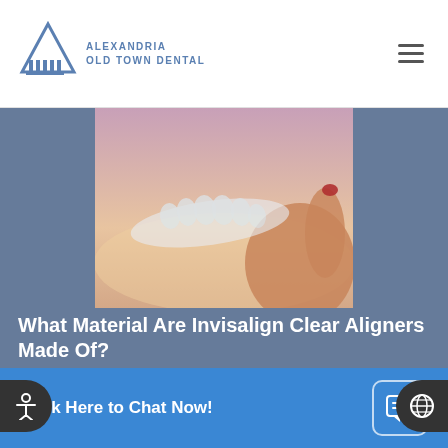Alexandria Old Town Dental
[Figure (photo): A hand holding a clear dental aligner/Invisalign tray against a warm sunset background]
What Material Are Invisalign Clear Aligners Made Of?
Invisalign® allows people to straighten their teeth without needing the metal brackets and wires with conventional braces. Invisalign trays are transparent and almost undetectable on the teeth. However,
Click Here to Chat Now!